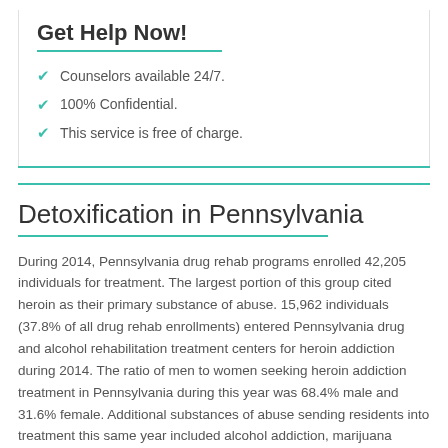Get Help Now!
Counselors available 24/7.
100% Confidential.
This service is free of charge.
Detoxification in Pennsylvania
During 2014, Pennsylvania drug rehab programs enrolled 42,205 individuals for treatment. The largest portion of this group cited heroin as their primary substance of abuse. 15,962 individuals (37.8% of all drug rehab enrollments) entered Pennsylvania drug and alcohol rehabilitation treatment centers for heroin addiction during 2014. The ratio of men to women seeking heroin addiction treatment in Pennsylvania during this year was 68.4% male and 31.6% female. Additional substances of abuse sending residents into treatment this same year included alcohol addiction, marijuana addiction and other opiates addiction.